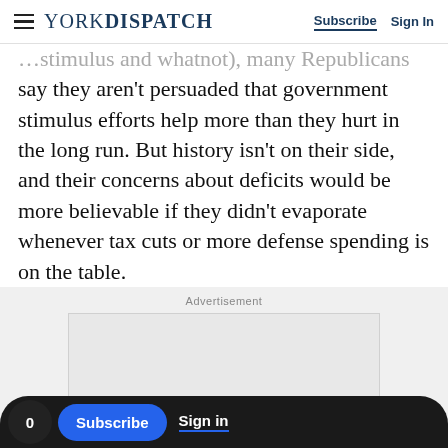YORK DISPATCH | Subscribe | Sign In
…stimulus and whatnot), many Republicans say they aren't persuaded that government stimulus efforts help more than they hurt in the long run. But history isn't on their side, and their concerns about deficits would be more believable if they didn't evaporate whenever tax cuts or more defense spending is on the table.
Advertisement
[Figure (other): Advertisement placeholder box]
0 | Subscribe | Sign in